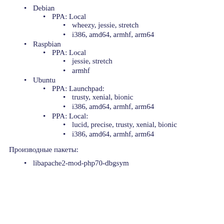Debian
PPA: Local
wheezy, jessie, stretch
i386, amd64, armhf, arm64
Raspbian
PPA: Local
jessie, stretch
armhf
Ubuntu
PPA: Launchpad:
trusty, xenial, bionic
i386, amd64, armhf, arm64
PPA: Local:
lucid, precise, trusty, xenial, bionic
i386, amd64, armhf, arm64
Производные пакеты:
libapache2-mod-php70-dbgsym